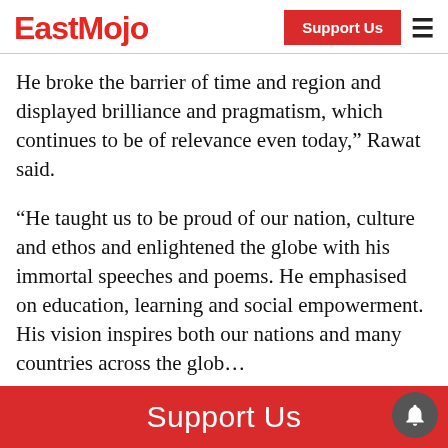EastMojo
He broke the barrier of time and region and displayed brilliance and pragmatism, which continues to be of relevance even today," Rawat said.
“He taught us to be proud of our nation, culture and ethos and enlightened the globe with his immortal speeches and poems. He emphasised on education, learning and social empowerment. His vision inspires both our nations and many countries across the glob…
Support Us